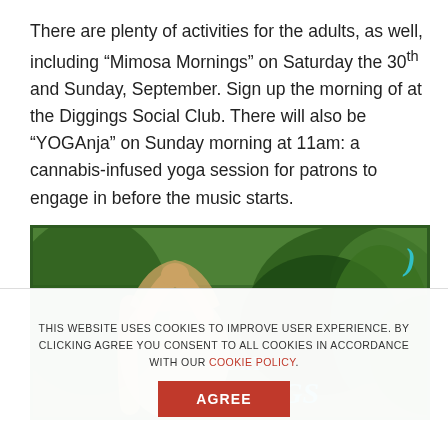There are plenty of activities for the adults, as well, including “Mimosa Mornings” on Saturday the 30th and Sunday, September. Sign up the morning of at the Diggings Social Club. There will also be “YOGAnja” on Sunday morning at 11am: a cannabis-infused yoga session for patrons to engage in before the music starts.
[Figure (photo): Outdoor photo showing a person with arms raised in a yoga pose among lush green cannabis/marijuana plants, with a 'Dry Diggings' sign visible in teal/cyan lettering against a green festival backdrop.]
THIS WEBSITE USES COOKIES TO IMPROVE USER EXPERIENCE. BY CLICKING AGREE YOU CONSENT TO ALL COOKIES IN ACCORDANCE WITH OUR COOKIE POLICY.